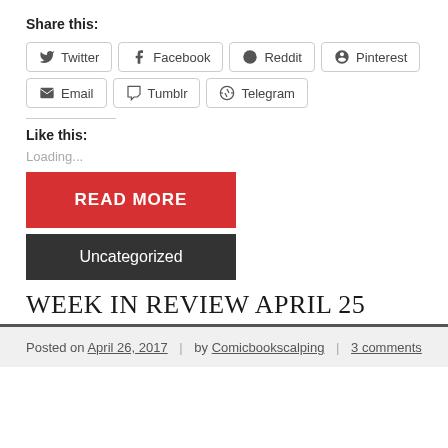Share this:
Twitter
Facebook
Reddit
Pinterest
Email
Tumblr
Telegram
Like this:
Loading...
READ MORE
Uncategorized
WEEK IN REVIEW APRIL 25
Posted on April 26, 2017 | by Comicbookscalping | 3 comments